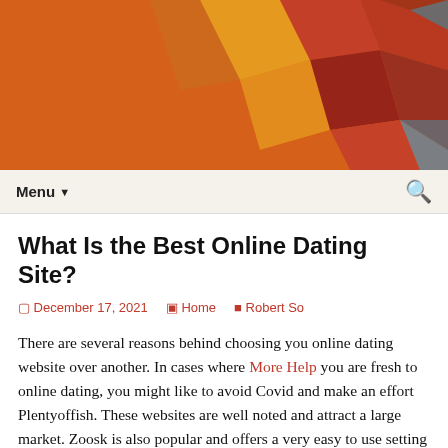Dominican Area News
Dominican Black Canyon Neighborhood Association
[Figure (illustration): Geometric polygon mosaic banner background in orange, red, brown, and blue tones]
What Is the Best Online Dating Site?
December 17, 2021   Home   Robert So
There are several reasons behind choosing you online dating website over another. In cases where More Help you are fresh to online dating, you might like to avoid Covid and make an effort Plentyoffish. These websites are well noted and attract a large market. Zoosk is also popular and offers a very easy to use setting up. You can search through profiles to verify if anyone you wish matches your